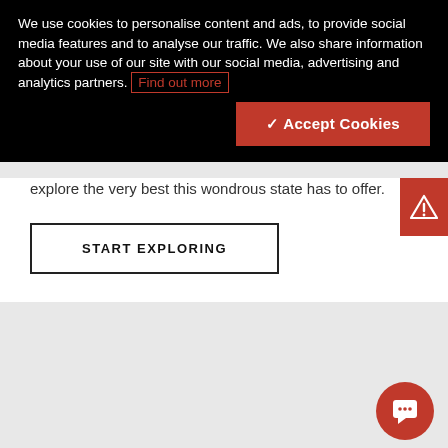We use cookies to personalise content and ads, to provide social media features and to analyse our traffic. We also share information about your use of our site with our social media, advertising and analytics partners. Find out more
✓ Accept Cookies
explore the very best this wondrous state has to offer.
START EXPLORING
[Figure (illustration): Red warning/alert triangle icon tab on right side]
[Figure (illustration): Red circular chat/message bubble button in bottom right corner]